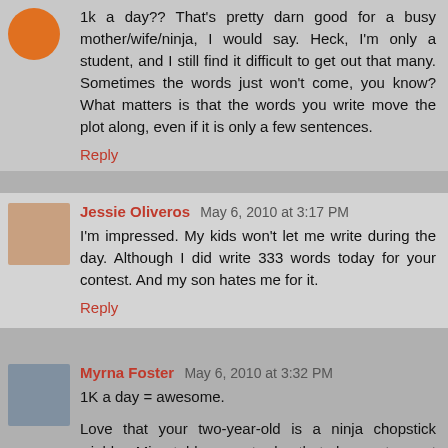1k a day?? That's pretty darn good for a busy mother/wife/ninja, I would say. Heck, I'm only a student, and I still find it difficult to get out that many. Sometimes the words just won't come, you know? What matters is that the words you write move the plot along, even if it is only a few sentences.
Reply
Jessie Oliveros May 6, 2010 at 3:17 PM
I'm impressed. My kids won't let me write during the day. Although I did write 333 words today for your contest. And my son hates me for it.
Reply
Myrna Foster May 6, 2010 at 3:32 PM
1K a day = awesome.
Love that your two-year-old is a ninja chopstick wielder. Mine told me yesterday that she wants a pet snake.